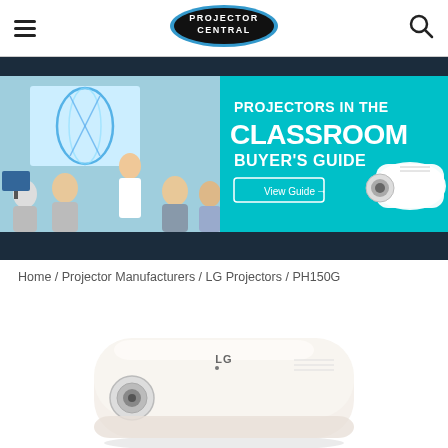Projector Central — navigation header with hamburger menu and search icon
[Figure (logo): Projector Central oval logo — black oval with blue highlight ring, white text PROJECTOR CENTRAL]
[Figure (infographic): Projectors in the Classroom Buyer's Guide advertisement banner. Left side shows classroom scene with students and teacher in front of a screen showing a DNA helix. Right side has cyan/teal background with bold white text: PROJECTORS IN THE CLASSROOM BUYER'S GUIDE, and a white button labeled View Guide with arrow. A white projector image is at the right.]
Home / Projector Manufacturers / LG Projectors / PH150G
[Figure (photo): LG PH150G projector — white rounded rectangular portable projector photographed from above-front angle, showing LG logo on top, lens on front. White and light tan color.]